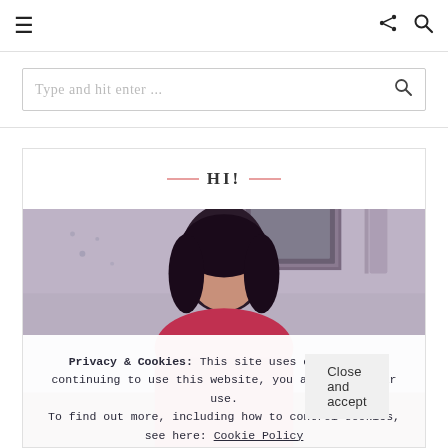≡  ⋮  🔍
Type and hit enter ...
HI!
[Figure (photo): A woman with dark hair photographed in a room with a framed picture on the wall behind her; lavender/mauve color tones; partial image cut off by cookie banner]
Privacy & Cookies: This site uses cookies. By continuing to use this website, you agree to their use.
To find out more, including how to control cookies, see here: Cookie Policy
Close and accept